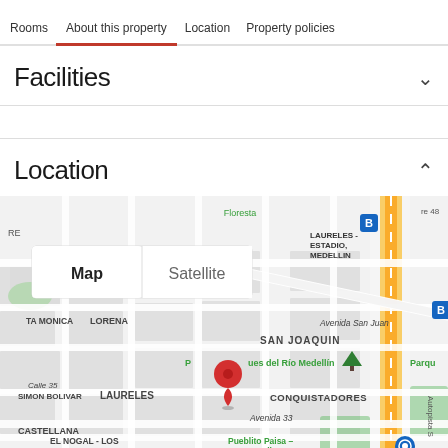Rooms   About this property   Location   Property policies
Facilities
Location
[Figure (map): Google Map showing Laureles neighborhood in Medellin, Colombia. Map view selected (vs Satellite). Shows streets including Avenida San Juan, Avenida 33, Calle 35. Neighborhoods labeled: Floresta, Laureles-Estadio Medellin, TA Monica, Lorena, San Joaquin, Simon Bolivar, Laureles, Conquistadores, Castellana, El Nogal-Los Almendros. Points of interest: Parques del Rio Medellin, Pueblito Paisa-Cerro Nutibara. A red location pin is placed in the Laureles area. Blue transit icons visible. Yellow highway visible on right.]